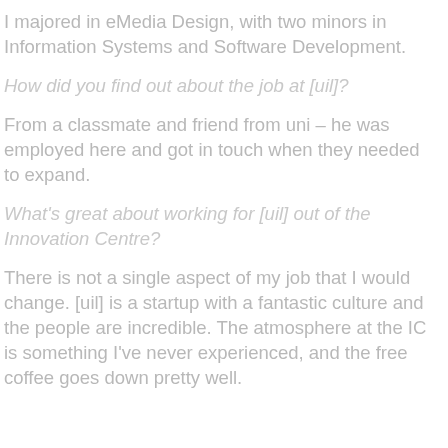I majored in eMedia Design, with two minors in Information Systems and Software Development.
How did you find out about the job at [uil]?
From a classmate and friend from uni – he was employed here and got in touch when they needed to expand.
What's great about working for [uil] out of the Innovation Centre?
There is not a single aspect of my job that I would change. [uil] is a startup with a fantastic culture and the people are incredible. The atmosphere at the IC is something I've never experienced, and the free coffee goes down pretty well.